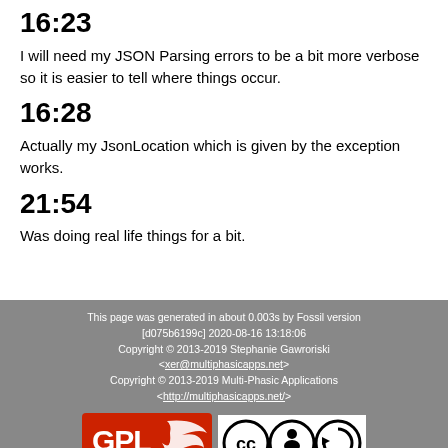16:23
I will need my JSON Parsing errors to be a bit more verbose so it is easier to tell where things occur.
16:28
Actually my JsonLocation which is given by the exception works.
21:54
Was doing real life things for a bit.
This page was generated in about 0.003s by Fossil version [d075b6199c] 2020-08-16 13:18:06
Copyright © 2013-2019 Stephanie Gawroriski <xer@multiphasicapps.net>
Copyright © 2013-2019 Multi-Phasic Applications <http://multiphasicapps.net/>